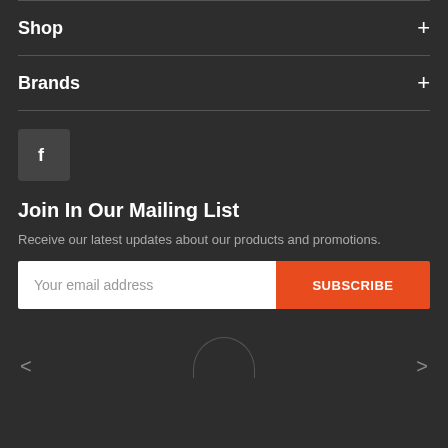Shop +
Brands +
[Figure (logo): Facebook icon button in a dark rounded square]
Join In Our Mailing List
Receive our latest updates about our products and promotions.
Your email address [input field] SUBSCRIBE [button]